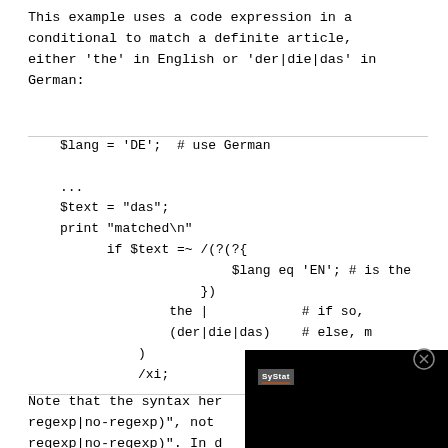This example uses a code expression in a conditional to match a definite article, either 'the' in English or 'der|die|das' in German:
Note that the syntax her regexp|no-regexp)", not regexp|no-regexp)". In d
[Figure (screenshot): Black overlay panel with SyStat logo and close button (X circle) appearing over the lower right portion of the code block]